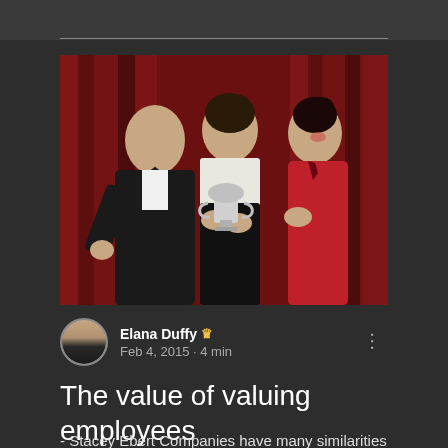[Figure (photo): Three people celebrating with a trophy/cup against a red curtain backdrop. A man in a black tuxedo on the left, a man in a white shirt and black pants in the center, and a woman in a red dress on the right.]
Elana Duffy 👑
Feb 4, 2015 · 4 min
The value of valuing employees
- Stacey Ebert Companies have many similarities to schools, only now we are all